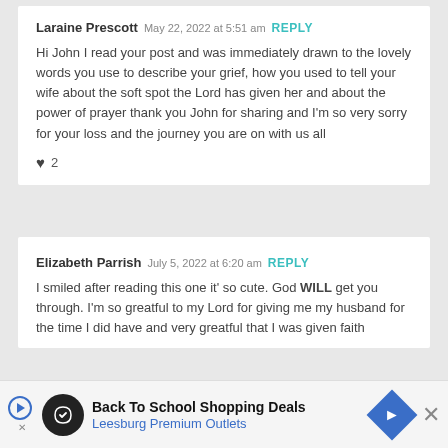Laraine Prescott  May 22, 2022 at 5:51 am  REPLY
Hi John I read your post and was immediately drawn to the lovely words you use to describe your grief, how you used to tell your wife about the soft spot the Lord has given her and about the power of prayer thank you John for sharing and I'm so very sorry for your loss and the journey you are on with us all
♥ 2
Elizabeth Parrish  July 5, 2022 at 6:20 am  REPLY
I smiled after reading this one it' so cute. God WILL get you through. I'm so greatful to my Lord for giving me my husband for the time I did have and very greatful that I was given faith
Back To School Shopping Deals  Leesburg Premium Outlets